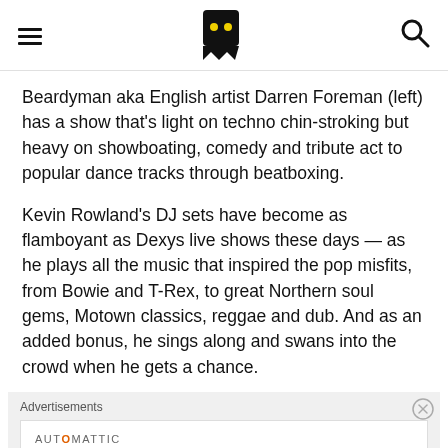Navigation header with hamburger menu, logo, and search icon
Beardyman aka English artist Darren Foreman (left) has a show that's light on techno chin-stroking but heavy on showboating, comedy and tribute act to popular dance tracks through beatboxing.
Kevin Rowland's DJ sets have become as flamboyant as Dexys live shows these days — as he plays all the music that inspired the pop misfits, from Bowie and T-Rex, to great Northern soul gems, Motown classics, reggae and dub. And as an added bonus, he sings along and swans into the crowd when he gets a chance.
Advertisements
AUTOMATTIC Build a better web and a better world.